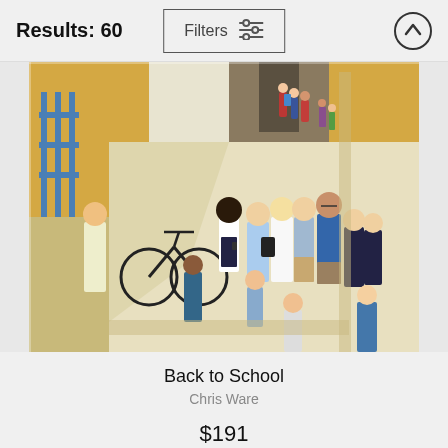Results: 60
Filters
[Figure (illustration): Illustrated artwork showing a school scene with many people — students and adults — walking near a school building. A bicycle is visible, and children with backpacks are shown in the background near a school entrance.]
Back to School
Chris Ware
$191